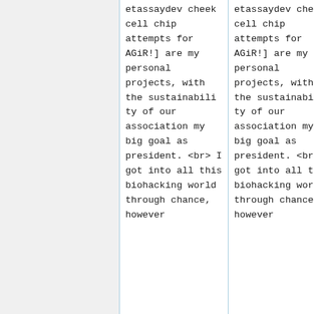etassaydev cheek cell chip attempts for AGiR!] are my personal projects, with the sustainability of our association my big goal as president. <br> I got into all this biohacking world through chance, however
etassaydev cheek cell chip attempts for AGiR!] are my personal projects, with the sustainability of our association my big goal as president. <br> I got into all this biohacking world through chance, however